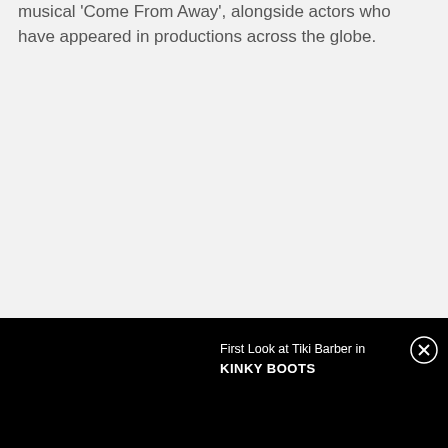musical 'Come From Away', alongside actors who have appeared in productions across the globe.
[Figure (screenshot): Black banner overlay at the bottom of the page showing a video player notification with text 'First Look at Tiki Barber in KINKY BOOTS' and a close (X) button on the right.]